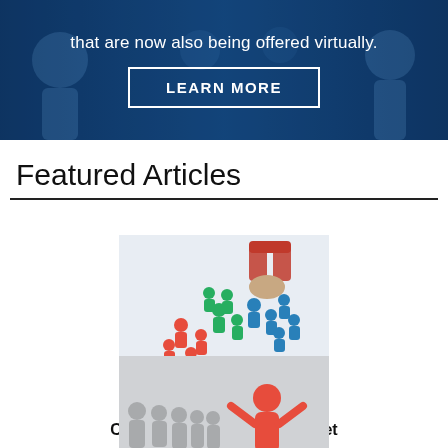[Figure (photo): Dark blue banner with text 'that are now also being offered virtually.' and a 'LEARN MORE' button with white border, overlaid on a photo of people]
Featured Articles
[Figure (photo): Photo of colorful people figures (red, blue, green) being attracted by a magnet held by a hand]
Why Leaders Need To Cultivate A Collective Mindset
[Figure (photo): Photo of a red 3D figure with arms raised standing out from a line of gray figures]